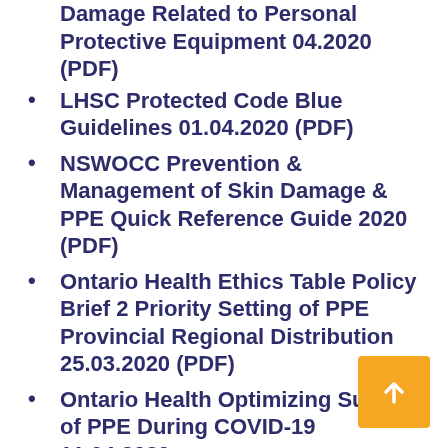Damage Related to Personal Protective Equipment 04.2020 (PDF)
LHSC Protected Code Blue Guidelines 01.04.2020 (PDF)
NSWOCC Prevention & Management of Skin Damage & PPE Quick Reference Guide 2020 (PDF)
Ontario Health Ethics Table Policy Brief 2 Priority Setting of PPE Provincial Regional Distribution 25.03.2020 (PDF)
Ontario Health Optimizing Supply of PPE During COVID-19 11.04.2020